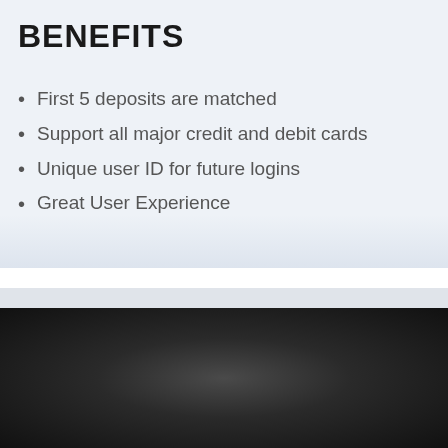BENEFITS
First 5 deposits are matched
Support all major credit and debit cards
Unique user ID for future logins
Great User Experience
[Figure (logo): Luxury Casino logo: dark rounded rectangle with a diamond icon on the left and 'LUXURY CASINO' text on the right, on a dark gradient background]